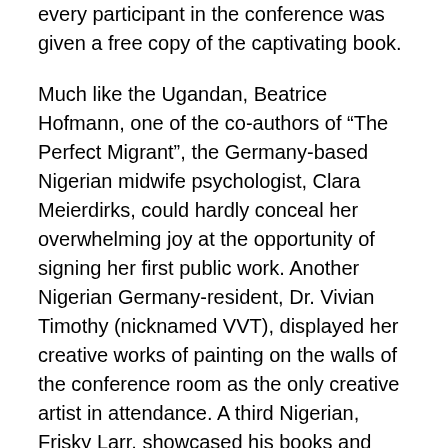every participant in the conference was given a free copy of the captivating book.
Much like the Ugandan, Beatrice Hofmann, one of the co-authors of “The Perfect Migrant”, the Germany-based Nigerian midwife psychologist, Clara Meierdirks, could hardly conceal her overwhelming joy at the opportunity of signing her first public work. Another Nigerian Germany-resident, Dr. Vivian Timothy (nicknamed VVT), displayed her creative works of painting on the walls of the conference room as the only creative artist in attendance. A third Nigerian, Frisky Larr, showcased his books and had a signing session on the fringes of the event. The diverse origin of participants was rounded up by a good number of Kenyan writers, some from neighboring Switzerland, a Ugandan co-author of the “The Perfect Migrant” and the only European man in the room, the